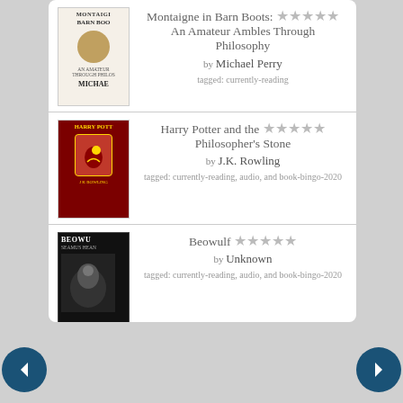[Figure (screenshot): Goodreads widget showing currently-reading books list with four entries: Montaigne in Barn Boots by Michael Perry, Harry Potter and the Philosopher's Stone by J.K. Rowling, Beowulf by Unknown, So You Want to Talk About Race by Ijeoma Oluo. Each has a book cover thumbnail, star rating (empty stars), and tags. Navigation arrows and Goodreads logo at bottom.]